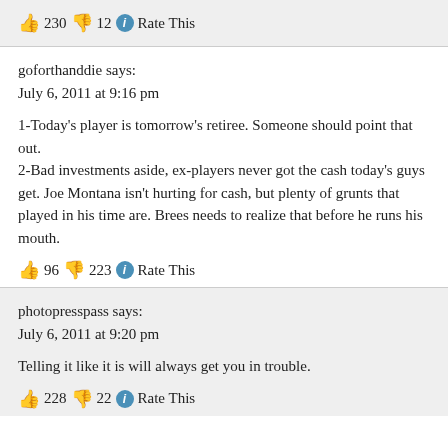👍 230 👎 12 ℹ Rate This
goforthanddie says:
July 6, 2011 at 9:16 pm
1-Today's player is tomorrow's retiree. Someone should point that out.
2-Bad investments aside, ex-players never got the cash today's guys get. Joe Montana isn't hurting for cash, but plenty of grunts that played in his time are. Brees needs to realize that before he runs his mouth.
👍 96 👎 223 ℹ Rate This
photopresspass says:
July 6, 2011 at 9:20 pm
Telling it like it is will always get you in trouble.
👍 228 👎 22 ℹ Rate This